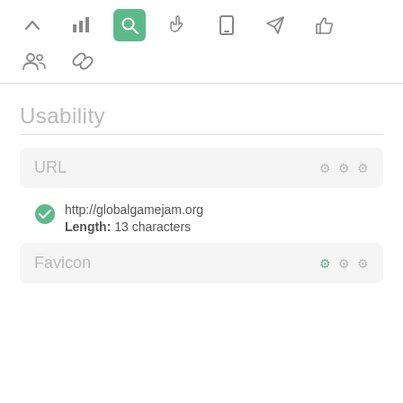[Figure (screenshot): Top navigation toolbar with icons: up arrow, bar chart, search (active/green), hand pointer, mobile device, send/rocket, thumbs up, and a second row with group/people icon and chain-link icon]
Usability
URL
http://globalgamejam.org
Length: 13 characters
Favicon